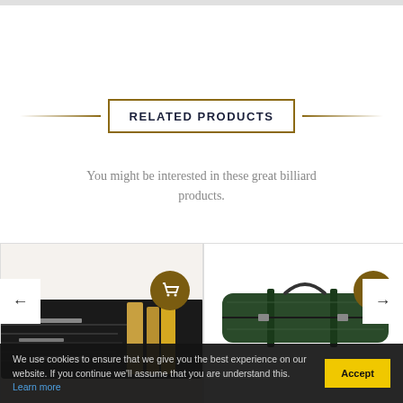RELATED PRODUCTS
You might be interested in these great billiard products.
[Figure (photo): Close-up of billiard cue sticks bundled together with black wrap and metal joints, yellow/tan cue butts visible]
[Figure (photo): Green billiard cue case/bag lying flat, dark green with black straps]
We use cookies to ensure that we give you the best experience on our website. If you continue we'll assume that you are understand this. Learn more